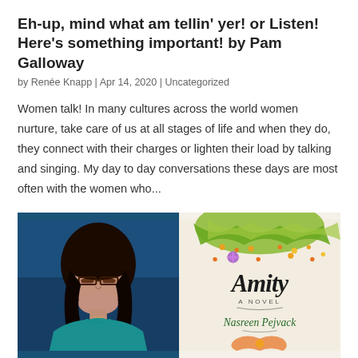Eh-up, mind what am tellin' yer! or Listen! Here's something important! by Pam Galloway
by Renée Knapp | Apr 14, 2020 | Uncategorized
Women talk! In many cultures across the world women nurture, take care of us at all stages of life and when they do, they connect with their charges or lighten their load by talking and singing. My day to day conversations these days are most often with the women who...
[Figure (photo): Left half: portrait photo of a woman with dark hair, glasses, wearing a teal top, against a dark blue background. Right half: book cover for 'Amity: A Novel' by Nasreen Pejvack, with decorative botanical patterns in green, orange, yellow and purple on a cream background.]